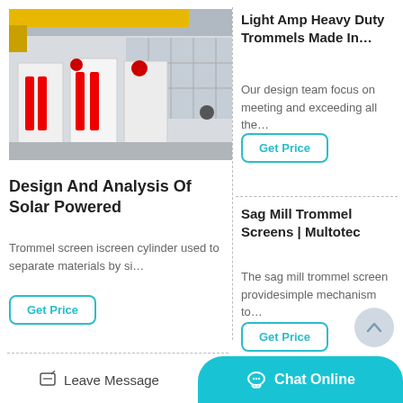[Figure (photo): Industrial facility with large red and white metal screening/trommel equipment stored inside a warehouse with yellow overhead crane visible]
Light Amp Heavy Duty Trommels Made In…
Our design team focus on meeting and exceeding all the…
Get Price
Design And Analysis Of Solar Powered
Trommel screen iscreen cylinder used to separate materials by si…
Get Price
Sag Mill Trommel Screens | Multotec
The sag mill trommel screen providesimple mechanism to…
Get Price
Leave Message   Chat Online